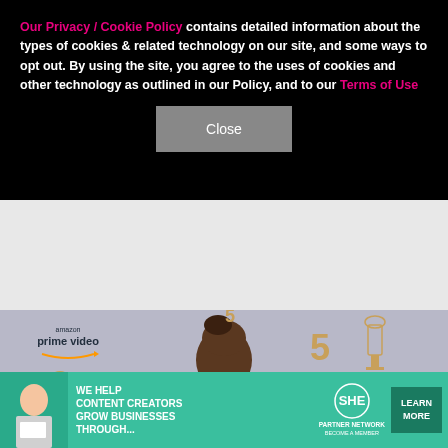Our Privacy / Cookie Policy contains detailed information about the types of cookies & related technology on our site, and some ways to opt out. By using the site, you agree to the uses of cookies and other technology as outlined in our Policy, and to our Terms of Use
Close
[Figure (photo): Photo background showing NAACP Image Awards step-and-repeat backdrop with Amazon Prime Video and TV ONE logos. A woman with an updo hairstyle is centered in front of the backdrop. The 50th NAACP Image Awards logo with trophy statue is visible on the right.]
[Figure (screenshot): Advertisement banner: 'WE HELP CONTENT CREATORS GROW BUSINESSES THROUGH...' with SHE Media Partner Network logo and a 'LEARN MORE' button on teal background. A woman with a tablet appears on the left side of the banner.]